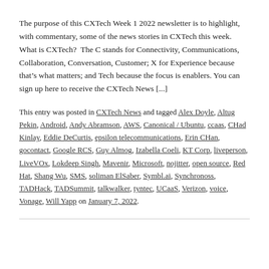The purpose of this CXTech Week 1 2022 newsletter is to highlight, with commentary, some of the news stories in CXTech this week. What is CXTech?  The C stands for Connectivity, Communications, Collaboration, Conversation, Customer; X for Experience because that's what matters; and Tech because the focus is enablers. You can sign up here to receive the CXTech News [...]
This entry was posted in CXTech News and tagged Alex Doyle, Altug Pekin, Android, Andy Abramson, AWS, Canonical / Ubuntu, ccaas, CHad Kinlay, Eddie DeCurtis, epsilon telecommunications, Erin CHan, gocontact, Google RCS, Guy Almog, Izabella Coeli, KT Corp, liveperson, LiveVOx, Lokdeep Singh, Mavenir, Microsoft, nojitter, open source, Red Hat, Shang Wu, SMS, soliman ElSaber, Symbl.ai, Synchronoss, TADHack, TADSummit, talkwalker, tyntec, UCaaS, Verizon, voice, Vonage, Will Yapp on January 7, 2022.